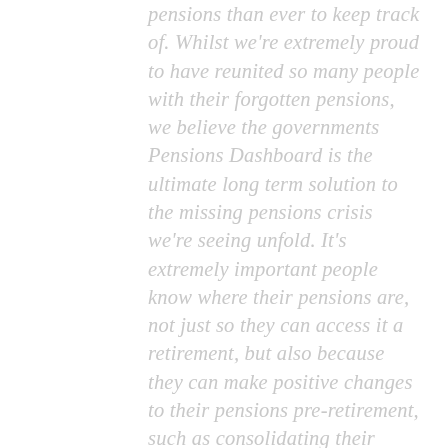pensions than ever to keep track of. Whilst we're extremely proud to have reunited so many people with their forgotten pensions, we believe the governments Pensions Dashboard is the ultimate long term solution to the missing pensions crisis we're seeing unfold. It's extremely important people know where their pensions are, not just so they can access it a retirement, but also because they can make positive changes to their pensions pre-retirement, such as consolidating their pensions into a cheaper, well invested